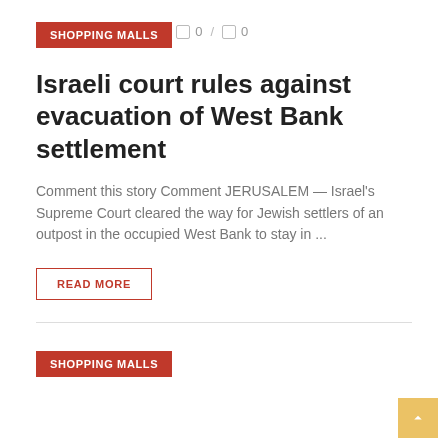SHOPPING MALLS
0 / 0
Israeli court rules against evacuation of West Bank settlement
Comment this story Comment JERUSALEM — Israel's Supreme Court cleared the way for Jewish settlers of an outpost in the occupied West Bank to stay in ...
READ MORE
SHOPPING MALLS